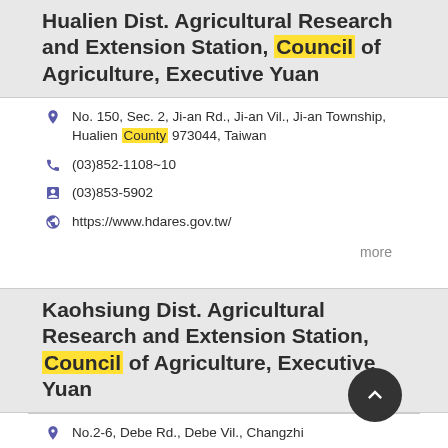Hualien Dist. Agricultural Research and Extension Station, Council of Agriculture, Executive Yuan
No. 150, Sec. 2, Ji-an Rd., Ji-an Vil., Ji-an Township, Hualien County 973044, Taiwan
(03)852-1108~10
(03)853-5902
https://www.hdares.gov.tw/
more
Kaohsiung Dist. Agricultural Research and Extension Station, Council of Agriculture, Executive Yuan
No.2-6, Debe Rd., Debe Vil., Changzhi